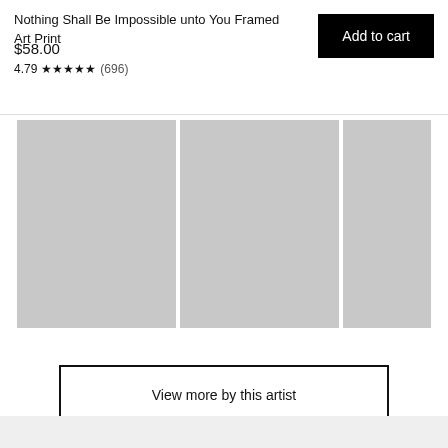Nothing Shall Be Impossible unto You Framed Art Print
$58.00
4.79 ★★★★★ (696)
Add to cart
[Figure (photo): Three placeholder gray image thumbnails shown side by side representing product images of the framed art print]
View more by this artist